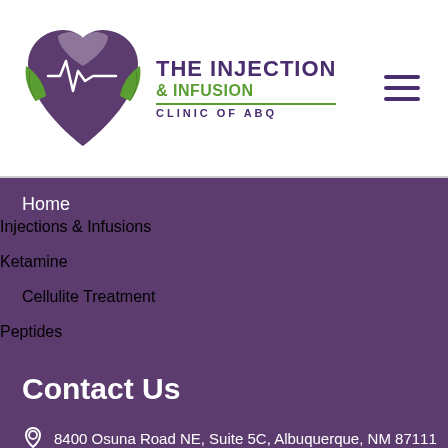[Figure (logo): The Injection & Infusion Clinic of ABQ logo with purple heart and green leaf design]
Home
Injections & Infusions
Ketamine
Cellulite Treatment
Peptides
Aging
Blog
About
Contact Us
Contact Us
8400 Osuna Road NE, Suite 5C, Albuquerque, NM 87111